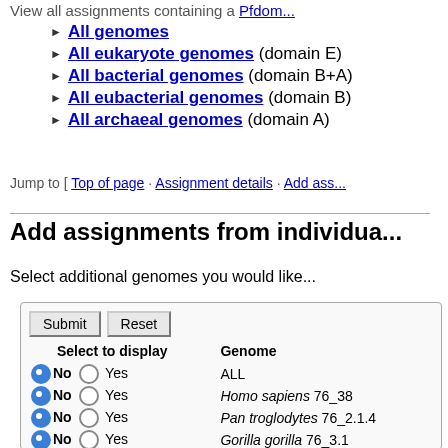View all assignments containing a [Pfdom...
All genomes
All eukaryote genomes (domain E)
All bacterial genomes (domain B+A)
All eubacterial genomes (domain B)
All archaeal genomes (domain A)
Jump to [ Top of page · Assignment details · Add ass...
Add assignments from individua...
Select additional genomes you would like...
| Select to display | Genome |
| --- | --- |
| No / Yes | ALL |
| No / Yes | Homo sapiens 76_38 |
| No / Yes | Pan troglodytes 76_2.1.4 |
| No / Yes | Gorilla gorilla 76_3.1 |
| No / Yes | Pongo abelii 76_2 |